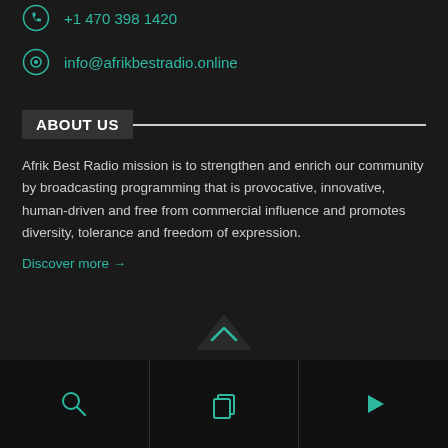+1 470 398 1420
info@afrikbestradio.online
ABOUT US
Afrik Best Radio mission is to strengthen and enrich our community by broadcasting programming that is provocative, innovative, human-driven and free from commercial influence and promotes diversity, tolerance and freedom of expression.
Discover more →
[Figure (other): Bottom navigation bar with search icon, copy/page icon, and play button icon, with an upward chevron above]
[Figure (other): Upward pointing chevron (caret) icon in teal/dark color]